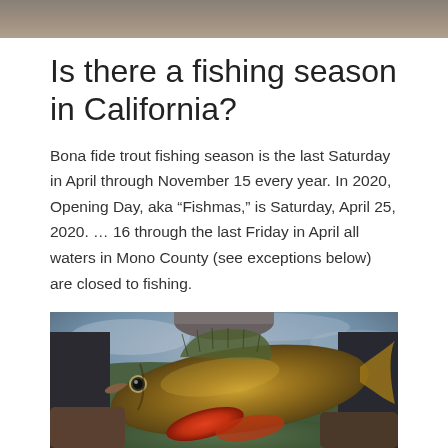[Figure (photo): Top portion of a photo showing a person outdoors, partially cropped]
Is there a fishing season in California?
Bona fide trout fishing season is the last Saturday in April through November 15 every year. In 2020, Opening Day, aka “Fishmas,” is Saturday, April 25, 2020. … 16 through the last Friday in April all waters in Mono County (see exceptions below) are closed to fishing.
[Figure (photo): A person holding a large perch fish with visible fins and orange-red lower fins, outdoor background with green hills and cloudy sky]